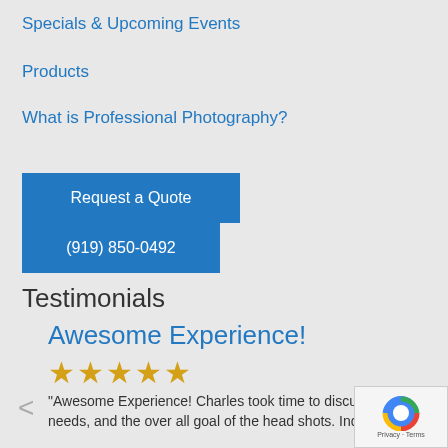Specials & Upcoming Events
Products
What is Professional Photography?
[Figure (other): Blue 'Request a Quote' button]
[Figure (other): Blue '(919) 850-0492' phone number button]
Testimonials
Awesome Experience!
[Figure (other): Five gold star rating]
“Awesome Experience! Charles took time to discuss my needs, and the over all goal of the head shots. Inquiring